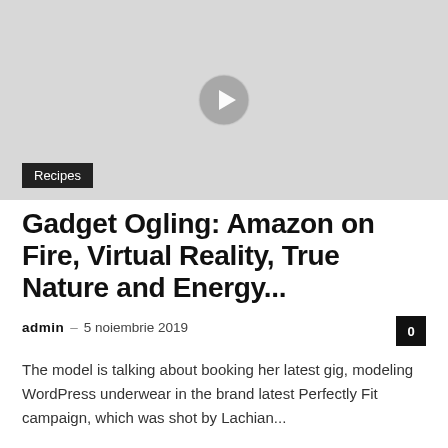[Figure (photo): A faded/light background photo of a person, with a circular play button overlay in the center, indicating a video thumbnail. A 'Recipes' category tag is overlaid at the bottom left of the image.]
Gadget Ogling: Amazon on Fire, Virtual Reality, True Nature and Energy...
admin – 5 noiembrie 2019
The model is talking about booking her latest gig, modeling WordPress underwear in the brand latest Perfectly Fit campaign, which was shot by Lachian...